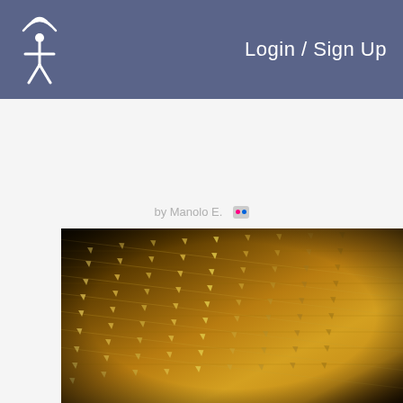Login / Sign Up
by Manolo E.
[Figure (photo): Close-up photograph of ancient cuneiform script inscribed on a golden/bronze tablet or clay surface, showing rows of wedge-shaped characters in diagonal lines]